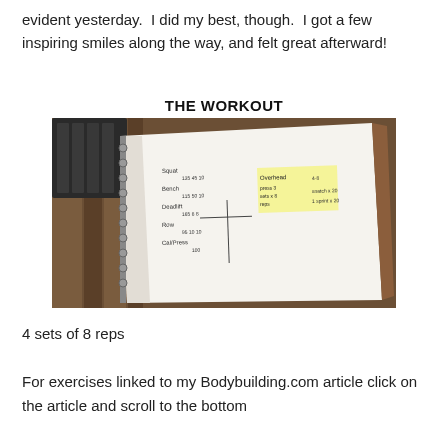evident yesterday.  I did my best, though.  I got a few inspiring smiles along the way, and felt great afterward!
THE WORKOUT
[Figure (photo): A spiral-bound notebook lying on a wooden surface, open to a page with handwritten workout exercises, weights, and sets/reps, with yellow highlighter marks on some entries.]
4 sets of 8 reps
For exercises linked to my Bodybuilding.com article click on the article and scroll to the bottom